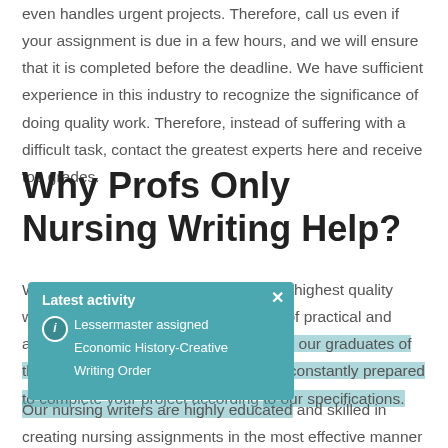even handles urgent projects. Therefore, call us even if your assignment is due in a few hours, and we will ensure that it is completed before the deadline. We have sufficient experience in this industry to recognize the significance of doing quality work. Therefore, instead of suffering with a difficult task, contact the greatest experts here and receive top grades.
Why Profs Only Nursing Writing Help?
We have a reputation for producing the highest quality work for all students. Numerous years of practical and academic experience are possessed by our graduates of the top universities. These experts are constantly prepared to complete your project according to our specifications.
[Figure (screenshot): Popup notification showing 'Latest activity' with info icon, text 'Lessermaster assigned', 'Economic History-Creative', 'Writing Order', and a close (×) button. Teal/blue-green background.]
Our nursing writers are highly educated and skilled in creating nursing assignments in the most effective manner feasible. When